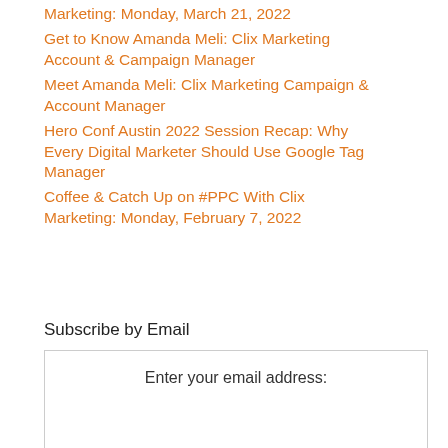Marketing: Monday, March 21, 2022
Get to Know Amanda Meli: Clix Marketing Account & Campaign Manager
Meet Amanda Meli: Clix Marketing Campaign & Account Manager
Hero Conf Austin 2022 Session Recap: Why Every Digital Marketer Should Use Google Tag Manager
Coffee & Catch Up on #PPC With Clix Marketing: Monday, February 7, 2022
Subscribe by Email
Enter your email address: